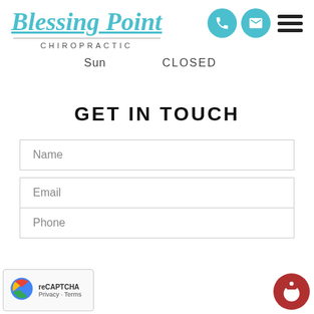[Figure (logo): Blessing Point Chiropractic logo with teal italic serif text and underline, plus subtitle CHIROPRACTIC in spaced uppercase]
[Figure (infographic): Header icons: teal phone circle, teal email circle, black hamburger menu]
Sun    CLOSED
GET IN TOUCH
[Figure (infographic): Contact form with fields: Name, Email, Phone]
[Figure (infographic): reCAPTCHA badge bottom left with logo and Privacy · Terms text]
[Figure (infographic): Red accessibility button bottom right with person-in-circle icon]